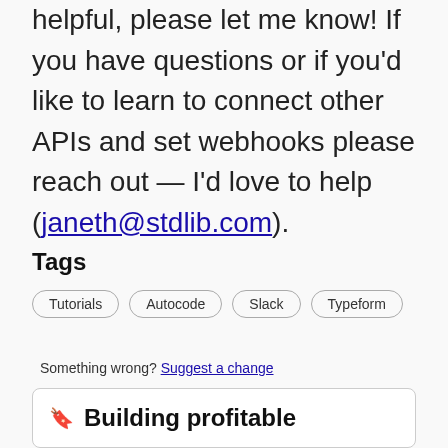helpful, please let me know! If you have questions or if you'd like to learn to connect other APIs and set webhooks please reach out — I'd love to help (janeth@stdlib.com).
Tags
Tutorials
Autocode
Slack
Typeform
Something wrong? Suggest a change
🔖 Building profitable